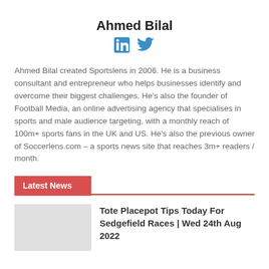Ahmed Bilal
[Figure (logo): LinkedIn and Twitter social media icons in blue]
Ahmed Bilal created Sportslens in 2006. He is a business consultant and entrepreneur who helps businesses identify and overcome their biggest challenges. He's also the founder of Football Media, an online advertising agency that specialises in sports and male audience targeting, with a monthly reach of 100m+ sports fans in the UK and US. He's also the previous owner of Soccerlens.com – a sports news site that reaches 3m+ readers / month.
Latest News
Tote Placepot Tips Today For Sedgefield Races | Wed 24th Aug 2022